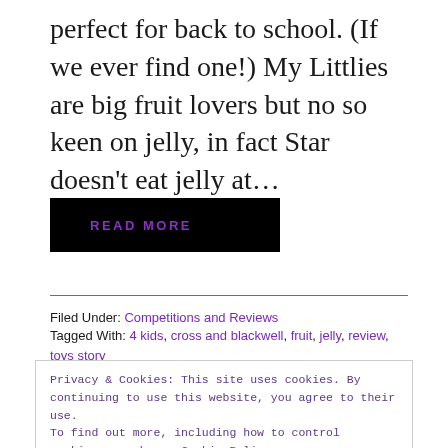perfect for back to school. (If we ever find one!) My Littlies are big fruit lovers but no so keen on jelly, in fact Star doesn't eat jelly at…
READ MORE
Filed Under: Competitions and Reviews
Tagged With: 4 kids, cross and blackwell, fruit, jelly, review, toys story
Privacy & Cookies: This site uses cookies. By continuing to use this website, you agree to their use. To find out more, including how to control cookies, see here: Cookie Policy
Close and accept
More...